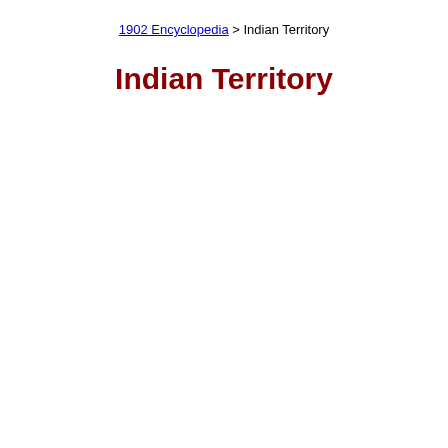1902 Encyclopedia > Indian Territory
Indian Territory